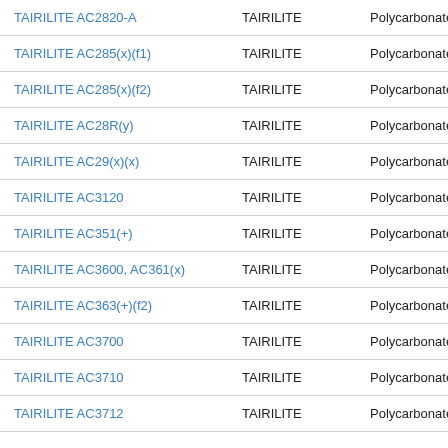| Product | Brand | Type |
| --- | --- | --- |
| TAIRILITE AC2820-A | TAIRILITE | Polycarbonate (PC |
| TAIRILITE AC285(x)(f1) | TAIRILITE | Polycarbonate (PC |
| TAIRILITE AC285(x)(f2) | TAIRILITE | Polycarbonate (PC |
| TAIRILITE AC28R(y) | TAIRILITE | Polycarbonate (PC |
| TAIRILITE AC29(x)(x) | TAIRILITE | Polycarbonate (PC |
| TAIRILITE AC3120 | TAIRILITE | Polycarbonate (PC |
| TAIRILITE AC351(+) | TAIRILITE | Polycarbonate (PC |
| TAIRILITE AC3600, AC361(x) | TAIRILITE | Polycarbonate (PC |
| TAIRILITE AC363(+)(f2) | TAIRILITE | Polycarbonate (PC |
| TAIRILITE AC3700 | TAIRILITE | Polycarbonate (PC |
| TAIRILITE AC3710 | TAIRILITE | Polycarbonate (PC |
| TAIRILITE AC3712 | TAIRILITE | Polycarbonate (PC |